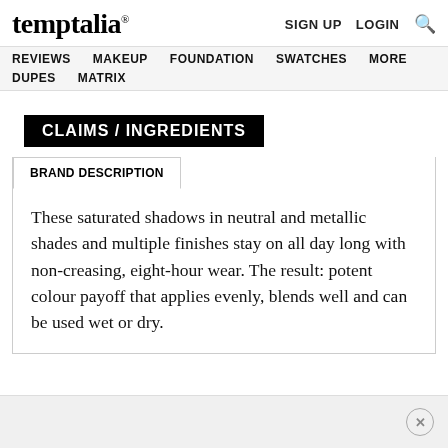temptalia®  SIGN UP  LOGIN  🔍
REVIEWS  MAKEUP  FOUNDATION  SWATCHES  MORE  DUPES  MATRIX
CLAIMS / INGREDIENTS
BRAND DESCRIPTION
These saturated shadows in neutral and metallic shades and multiple finishes stay on all day long with non-creasing, eight-hour wear. The result: potent colour payoff that applies evenly, blends well and can be used wet or dry.